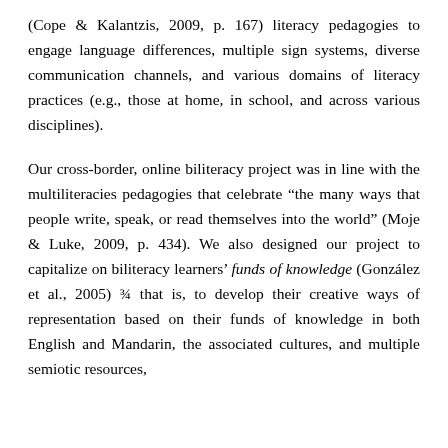(Cope & Kalantzis, 2009, p. 167) literacy pedagogies to engage language differences, multiple sign systems, diverse communication channels, and various domains of literacy practices (e.g., those at home, in school, and across various disciplines).
Our cross-border, online biliteracy project was in line with the multiliteracies pedagogies that celebrate “the many ways that people write, speak, or read themselves into the world” (Moje & Luke, 2009, p. 434). We also designed our project to capitalize on biliteracy learners’ funds of knowledge (González et al., 2005) ¾ that is, to develop their creative ways of representation based on their funds of knowledge in both English and Mandarin, the associated cultures, and multiple semiotic resources,